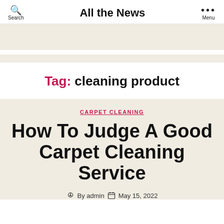All the News
Tag: cleaning product
CARPET CLEANING
How To Judge A Good Carpet Cleaning Service
By admin  May 15, 2022